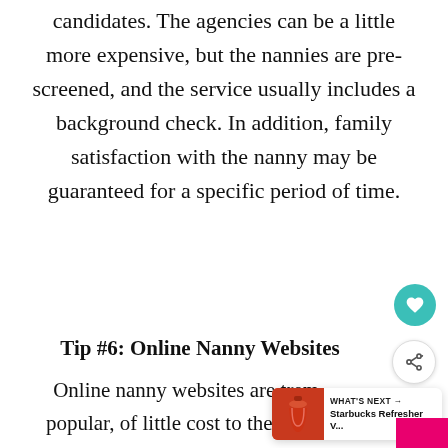candidates. The agencies can be a little more expensive, but the nannies are pre-screened, and the service usually includes a background check. In addition, family satisfaction with the nanny may be guaranteed for a specific period of time.
Tip #6: Online Nanny Websites
Online nanny websites are trem popular, of little cost to the parent, and a